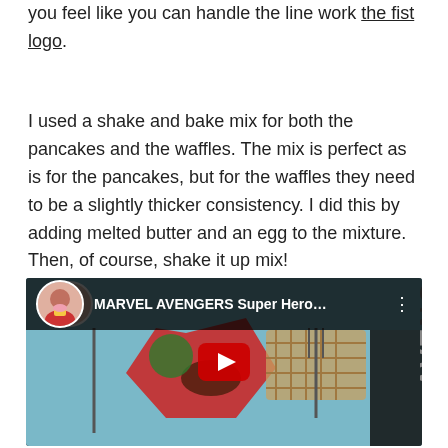you feel like you can handle the line work the fist logo.
I used a shake and bake mix for both the pancakes and the waffles. The mix is perfect as is for the pancakes, but for the waffles they need to be a slightly thicker consistency. I did this by adding melted butter and an egg to the mixture. Then, of course, shake it up mix!
[Figure (screenshot): YouTube video thumbnail showing MARVEL AVENGERS Super Hero... with a food photo featuring waffles, a red star shape, and utensils on a blue background. A circular avatar of a woman with a cupcake is shown. A red play button is visible in the center.]